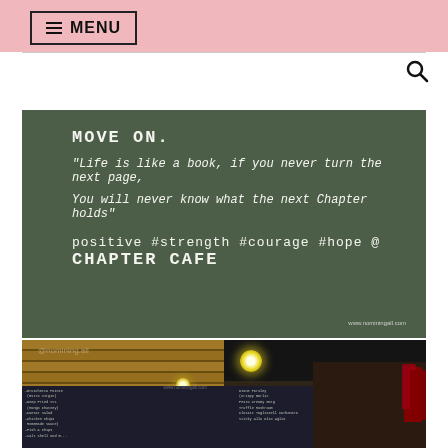≡ MENU
[Figure (photo): Chalkboard wall at Chapter Cafe with motivational quote: MOVE ON. 'Life is like a book, if you never turn the next page, You will never know what the next Chapter holds' positive #strength #courage #hope @ CHAPTER CAFE]
[Figure (photo): Interior of Chapter Cafe showing wooden pallet ceiling, pendant light bulbs, chalkboard menu on the wall, and red flowers in the foreground. Watermark: @nomining.all]